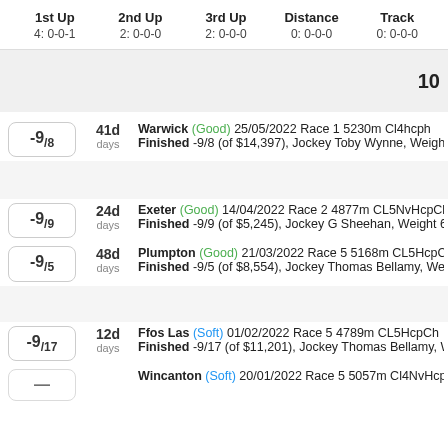| 1st Up | 2nd Up | 3rd Up | Distance | Track |
| --- | --- | --- | --- | --- |
| 4: 0-0-1 | 2: 0-0-0 | 2: 0-0-0 | 0: 0-0-0 | 0: 0-0-0 |
10
-9/8  41d  Warwick (Good) 25/05/2022 Race 1 5230m Cl4hcph Finished -9/8 (of $14,397), Jockey Toby Wynne, Weight 6
-9/9  24d  Exeter (Good) 14/04/2022 Race 2 4877m CL5NvHcpCh Finished -9/9 (of $5,245), Jockey G Sheehan, Weight 68k
-9/5  48d  Plumpton (Good) 21/03/2022 Race 5 5168m CL5HcpCh Finished -9/5 (of $8,554), Jockey Thomas Bellamy, Weigh
-9/17  12d  Ffos Las (Soft) 01/02/2022 Race 5 4789m CL5HcpCh Finished -9/17 (of $11,201), Jockey Thomas Bellamy, We
Wincanton (Soft) 20/01/2022 Race 5 5057m Cl4NvHcp...